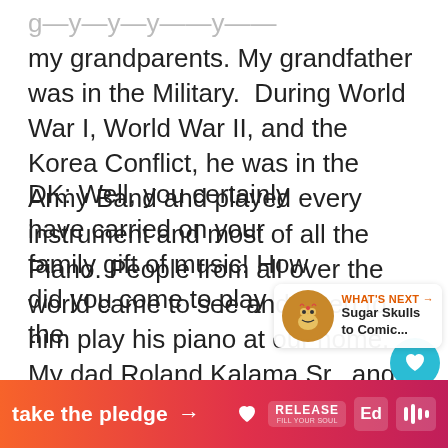my grandparents. My grandfather was in the Military.  During World War I, World War II, and the Korea Conflict, he was in the Army Band and played every instrument and most of all the Piano. People from all over the world came to see and listen to him play his piano at our home. My dad Roland Kalama Sr., and his eight siblings all played different instruments and sang. The community of Warm Springs would come to listen or join in. I miss those days  since no one does it anymore.
DK: Well, you certainly have carried on your family gift of music! How did you come to play the
[Figure (screenshot): UI overlay showing a teal heart/like button, count of 2, and share icon on right side of page]
[Figure (screenshot): What's Next panel showing a sugar skull thumbnail and text 'Sugar Skulls to Comic...']
[Figure (screenshot): Orange/pink gradient banner at bottom saying 'take the pledge' with an arrow, Release logo, Ed logo, and audio wave icon]